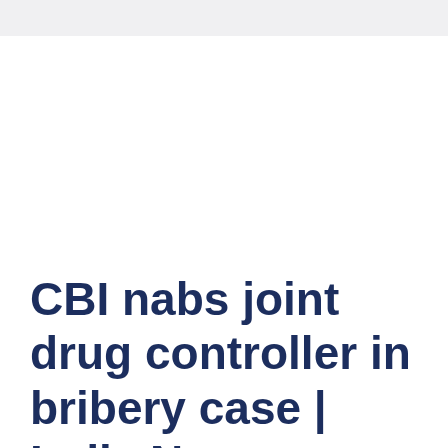CBI nabs joint drug controller in bribery case | India News